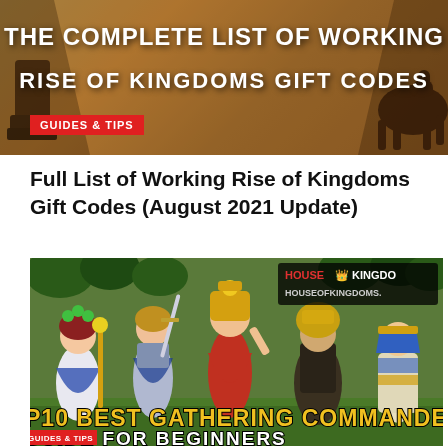[Figure (screenshot): Banner image with orange-brown background showing text 'THE COMPLETE LIST OF WORKING RISE OF KINGDOMS GIFT CODES' with a red 'GUIDES & TIPS' tag label in the lower left]
Full List of Working Rise of Kingdoms Gift Codes (August 2021 Update)
[Figure (screenshot): Game promotional image showing 5 animated game characters (commanders) standing on a green background with trees, House of Kingdoms logo, text 'TOP 10 BEST GATHERING COMMANDERS' and 'GUIDE FOR BEGINNERS' at the bottom]